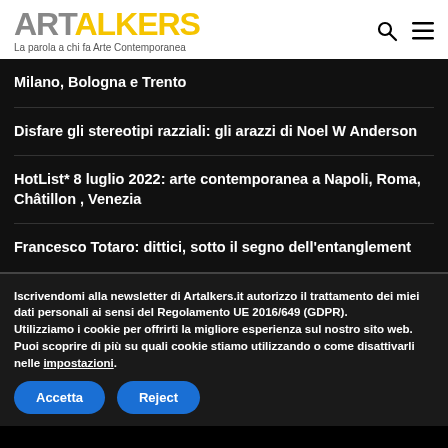ARTALKERS — La parola a chi fa Arte Contemporanea
Milano, Bologna e Trento
Disfare gli stereotipi razziali: gli arazzi di Noel W Anderson
HotList* 8 luglio 2022: arte contemporanea a Napoli, Roma, Châtillon , Venezia
Francesco Totaro: dittici, sotto il segno dell'entanglement
Iscrivendomi alla newsletter di Artalkers.it autorizzo il trattamento dei miei dati personali ai sensi del Regolamento UE 2016/649 (GDPR). Utilizziamo i cookie per offrirti la migliore esperienza sul nostro sito web. Puoi scoprire di più su quali cookie stiamo utilizzando o come disattivarli nelle impostazioni.
Accetta
Reject